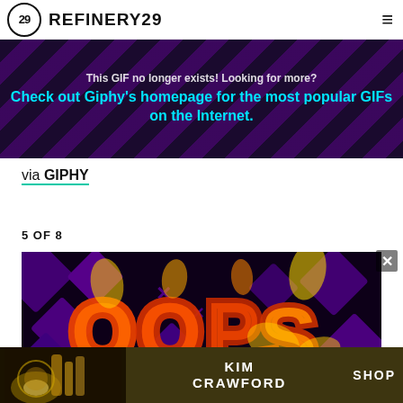REFINERY29
[Figure (screenshot): Giphy error banner with dark purple background and decorative diamond pattern, showing text: 'This GIF no longer exists! Looking for more?' and 'Check out Giphy's homepage for the most popular GIFs on the Internet.' in cyan bold text]
via GIPHY
5 OF 8
[Figure (screenshot): Animated GIF image showing 'OOPS' text in orange and yellow flame-style lettering on a dark purple background with geometric diamond shapes]
[Figure (screenshot): Kim Crawford wine advertisement banner showing wine bottles with text 'KIM CRAWFORD' and 'SHOP' button on dark golden-brown background]